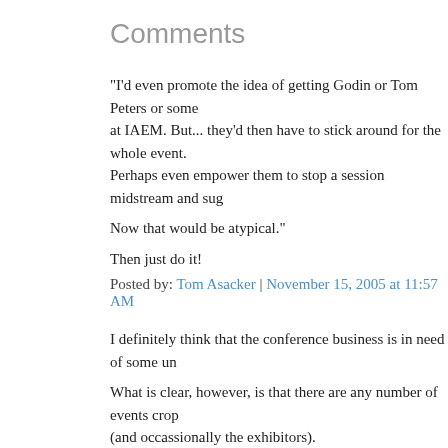Comments
"I'd even promote the idea of getting Godin or Tom Peters or some at IAEM. But... they'd then have to stick around for the whole event. Perhaps even empower them to stop a session midstream and sug
Now that would be atypical."
Then just do it!
Posted by: Tom Asacker | November 15, 2005 at 11:57 AM
I definitely think that the conference business is in need of some un
What is clear, however, is that there are any number of events crop (and occassionally the exhibitors).
The real problem is not having these conversations, I think, but mak
Posted by: Gregory Narain | November 14, 2005 at 02:31 PM
Hi, actually our company is called Frameweld and our blog is named
It would make for a great event to have someone like Godin or Tom
But you can get a lot of discussion and helpful advice from cheaper